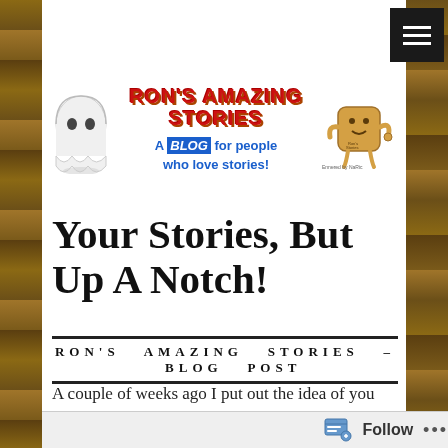[Figure (logo): Ron's Amazing Stories blog header with ghost mascot, red bold title text 'RON'S AMAZING STORIES', subtitle 'A BLOG for people who love stories!' in blue with red BLOG, and a toast character mascot on the right]
Your Stories, But Up A Notch!
RON'S  AMAZING  STORIES  –  BLOG  POST
A couple of weeks ago I put out the idea of you guys writing fiction stories for the show. I wondered how this